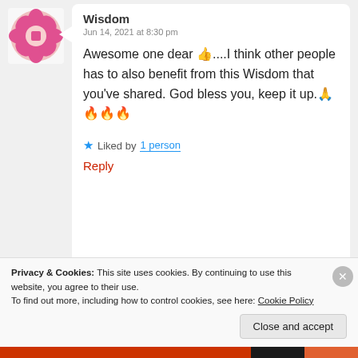[Figure (illustration): Pink decorative avatar icon with geometric flower/cross pattern for user Wisdom]
Wisdom
Jun 14, 2021 at 8:30 pm
Awesome one dear 👍....I think other people has to also benefit from this Wisdom that you've shared. God bless you, keep it up.🙏🔥🔥🔥
★ Liked by 1 person
Reply
[Figure (photo): Circular profile photo of a person outdoors for user Lizzie]
Lizzie
Jun 15, 2021 at 8:08 am
Privacy & Cookies: This site uses cookies. By continuing to use this website, you agree to their use.
To find out more, including how to control cookies, see here: Cookie Policy
Close and accept